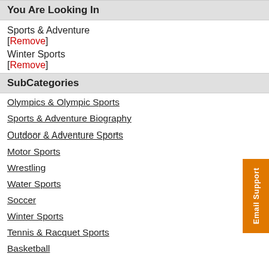You Are Looking In
Sports & Adventure
[Remove]
Winter Sports
[Remove]
SubCategories
Olympics & Olympic Sports
Sports & Adventure Biography
Outdoor & Adventure Sports
Motor Sports
Wrestling
Water Sports
Soccer
Winter Sports
Tennis & Racquet Sports
Basketball